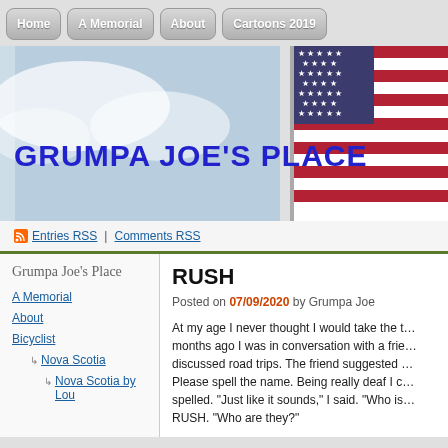Home | A Memorial | About | Cartoons 2019
[Figure (photo): Hero banner with American flag on right side and sky/clouds on left. Text 'GRUMPA JOE'S PLACE' overlaid in large blue bold font.]
Entries RSS | Comments RSS
Grumpa Joe's Place
A Memorial
About
Bicyclist
Nova Scotia
Nova Scotia by Lou
RUSH
Posted on 07/09/2020 by Grumpa Joe
At my age I never thought I would take the t… months ago I was in conversation with a frie… discussed road trips. The friend suggested … Please spell the name. Being really deaf I c… spelled. "Just like it sounds," I said. "Who is… RUSH. "Who are they?"